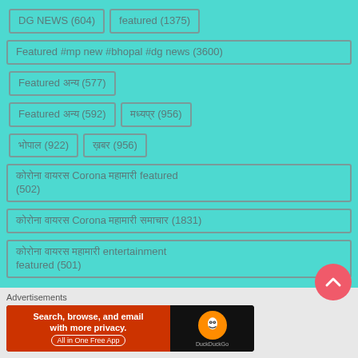DG NEWS (604)
featured (1375)
Featured #mp new #bhopal #dg news (3600)
Featured □□□□ (577)
Featured □□□□ (592)
□□□□□□ (956)
□□□□□□ (922)
□□□ (956)
□□□ □□□□□ Corona □□□□□□□□□□ featured (502)
□□□ □□□□□ Corona □□□□□□□□□□ □□□□□ (1831)
□□□ □□□□□ □□□□□□□□□□ entertainment featured (501)
Advertisements
[Figure (other): DuckDuckGo advertisement banner: orange/red background with text 'Search, browse, and email with more privacy. All in One Free App' and DuckDuckGo logo on dark background]